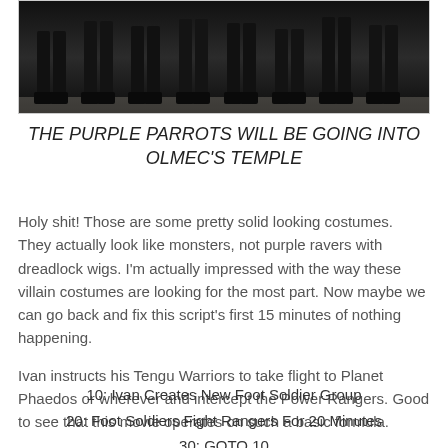[Figure (photo): Dark photo showing the lower legs and boots of multiple figures in black costumes, standing on a light surface]
THE PURPLE PARROTS WILL BE GOING INTO OLMEC'S TEMPLE
Holy shit! Those are some pretty solid looking costumes. They actually look like monsters, not purple ravers with dreadlock wigs. I'm actually impressed with the way these villain costumes are looking for the most part. Now maybe we can go back and fix this script's first 15 minutes of nothing happening.
Ivan instructs his Tengu Warriors to take flight to Planet Phaedos or wherever and intercept the Power Rangers. Good to see that this movie operates on such a basic formula.
10: Ivan Creates New Foot Soldier Group
20: Foot Soldiers Fight Rangers For 20 Minutes
30: GOTO 10